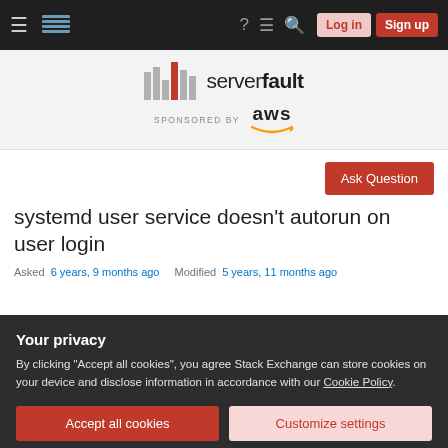≡ [Stack Exchange logo] ? ≡ 🔍 Log in Sign up
[Figure (logo): ServerFault logo with equalizer bars graphic and 'serverfault' text, sponsored by AWS]
Ask Question
systemd user service doesn't autorun on user login
Asked 6 years, 9 months ago   Modified 5 years, 11 months ago
Your privacy
By clicking "Accept all cookies", you agree Stack Exchange can store cookies on your device and disclose information in accordance with our Cookie Policy.
Accept all cookies   Customize settings
This creates a simple systemd service